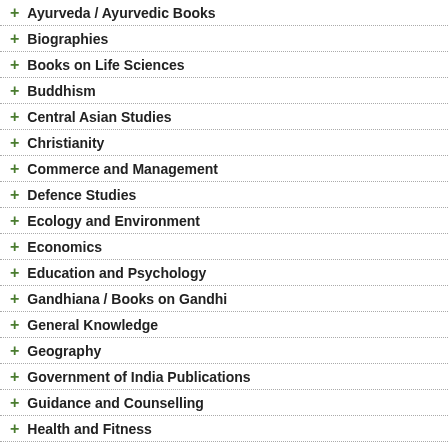+ Ayurveda / Ayurvedic Books
+ Biographies
+ Books on Life Sciences
+ Buddhism
+ Central Asian Studies
+ Christianity
+ Commerce and Management
+ Defence Studies
+ Ecology and Environment
+ Economics
+ Education and Psychology
+ Gandhiana / Books on Gandhi
+ General Knowledge
+ Geography
+ Government of India Publications
+ Guidance and Counselling
+ Health and Fitness
+ Himalayan Studies
+ Hinduism
+ History
+ Human Rights
+ Information Technology
Book Code : 12117
Bergen, J.Y.
Year of Pub : ..
Price : US$
Synthetic C
Sareen, Sha
Year of Pub :
ISBN : 81-78
This book is agents. An a these agent
Price : US$
Book Code : 25454
Synthetic D
Singh, Rajb
Year of Pub :
ISBN : 81-70
There are s include a gr